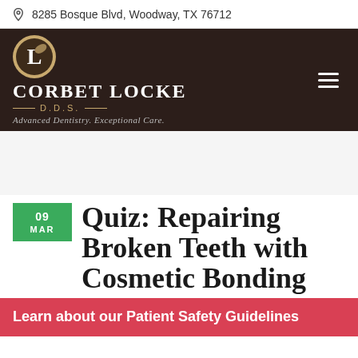8285 Bosque Blvd, Woodway, TX 76712
[Figure (logo): Corbet Locke DDS dental practice logo with circular emblem and text. Dark brown header with logo icon, practice name, D.D.S. title, and tagline 'Advanced Dentistry. Exceptional Care.']
Quiz: Repairing Broken Teeth with Cosmetic Bonding
Learn about our Patient Safety Guidelines